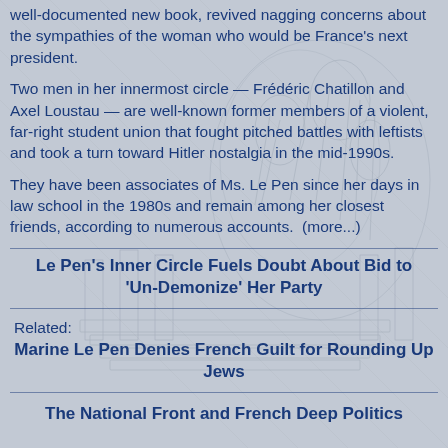well-documented new book, revived nagging concerns about the sympathies of the woman who would be France's next president.
Two men in her innermost circle — Frédéric Chatillon and Axel Loustau — are well-known former members of a violent, far-right student union that fought pitched battles with leftists and took a turn toward Hitler nostalgia in the mid-1990s.
They have been associates of Ms. Le Pen since her days in law school in the 1980s and remain among her closest friends, according to numerous accounts.  (more...)
Le Pen's Inner Circle Fuels Doubt About Bid to 'Un-Demonize' Her Party
Related:
Marine Le Pen Denies French Guilt for Rounding Up Jews
The National Front and French Deep Politics